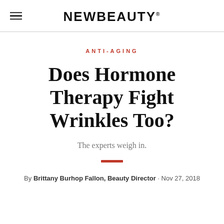NEWBEAUTY
ANTI-AGING
Does Hormone Therapy Fight Wrinkles Too?
The experts weigh in.
By Brittany Burhop Fallon, Beauty Director · Nov 27, 2018